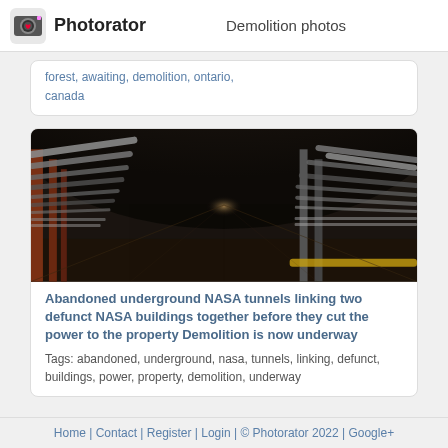Photorator — Demolition photos
forest, awaiting, demolition, ontario, canada
[Figure (photo): Dark underground tunnel filled with large pipes and conduits running along both sides, perspective view toward vanishing point in the distance, rusty red support structures on left]
Abandoned underground NASA tunnels linking two defunct NASA buildings together before they cut the power to the property Demolition is now underway
Tags: abandoned, underground, nasa, tunnels, linking, defunct, buildings, power, property, demolition, underway
Home | Contact | Register | Login | © Photorator 2022 | Google+